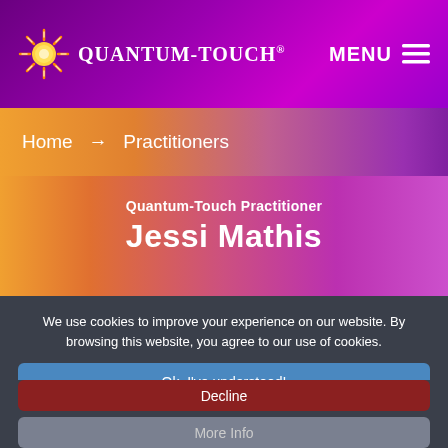QUANTUM-TOUCH®  MENU
Home → Practitioners
Quantum-Touch Practitioner
Jessi Mathis
We use cookies to improve your experience on our website. By browsing this website, you agree to our use of cookies.
Ok, I've understood!
Decline
More Info